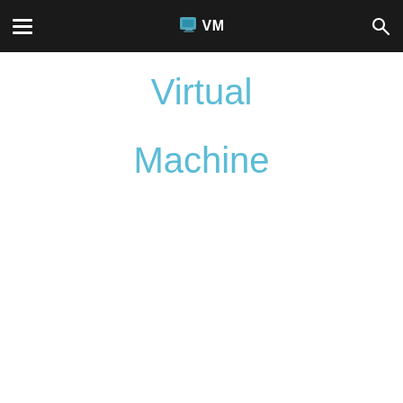VM Virtual Machine
Virtual
Machine